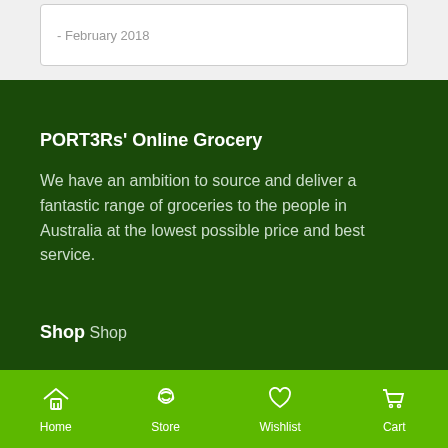- February 2018
PORT3Rs' Online Grocery
We have an ambition to source and deliver a fantastic range of groceries to the people in Australia at the lowest possible price and best service.
Shop
Shop
Home  Store  Wishlist  Cart